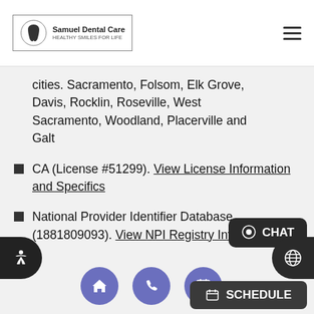Samuel Dental Care
cities. Sacramento, Folsom, Elk Grove, Davis, Rocklin, Roseville, West Sacramento, Woodland, Placerville and Galt
CA (License #51299). View License Information and Specifics
National Provider Identifier Database (1881809093). View NPI Registry Information
Norton Safe Web. View Details
Trend Micro Site Safety Center. View Details